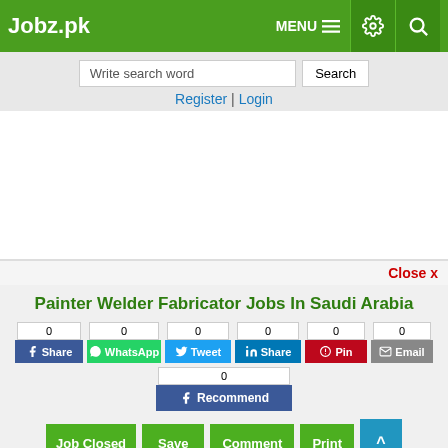Jobz.pk
Write search word | Search
Register | Login
[Figure (other): Advertisement/blank area]
Close x
Painter Welder Fabricator Jobs In Saudi Arabia
0 Share | 0 WhatsApp | 0 Tweet | 0 Share | 0 Pin | 0 Email | 0 Recommend
Job Closed | Save | Comment | Print